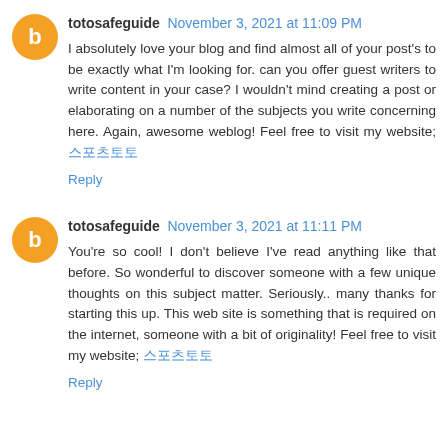totosafeguide November 3, 2021 at 11:09 PM
I absolutely love your blog and find almost all of your post's to be exactly what I'm looking for. can you offer guest writers to write content in your case? I wouldn't mind creating a post or elaborating on a number of the subjects you write concerning here. Again, awesome weblog! Feel free to visit my website; 스포츠토토
Reply
totosafeguide November 3, 2021 at 11:11 PM
You're so cool! I don't believe I've read anything like that before. So wonderful to discover someone with a few unique thoughts on this subject matter. Seriously.. many thanks for starting this up. This web site is something that is required on the internet, someone with a bit of originality! Feel free to visit my website; 스포츠토토
Reply